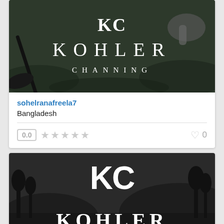[Figure (logo): KOHLER CHANNING logo on dark golf course background with a hand holding a golf club]
sohelranafreela7
Bangladesh
0.0
0
[Figure (logo): KC KOHLER logo on dark black and white golf course background]